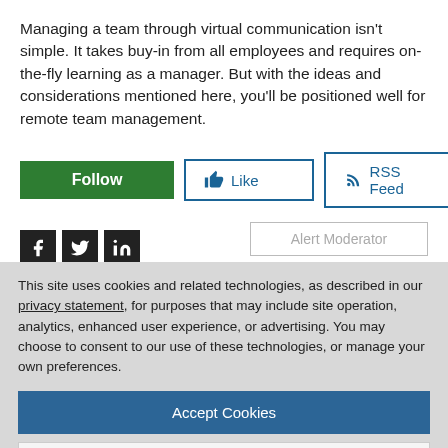Managing a team through virtual communication isn't simple. It takes buy-in from all employees and requires on-the-fly learning as a manager. But with the ideas and considerations mentioned here, you'll be positioned well for remote team management.
[Figure (other): Row of buttons: green Follow button, Like button with thumbs up icon, RSS Feed button with RSS icon]
[Figure (other): Social share icons: Facebook, Twitter/X, LinkedIn (dark squares), and Alert Moderator button on the right]
This site uses cookies and related technologies, as described in our privacy statement, for purposes that may include site operation, analytics, enhanced user experience, or advertising. You may choose to consent to our use of these technologies, or manage your own preferences.
Accept Cookies
More Information
Privacy Policy | Powered by: TrustArc
working from home